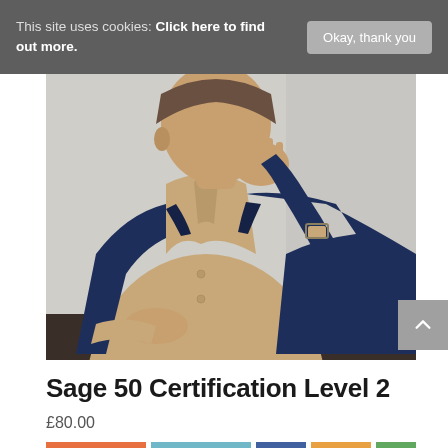This site uses cookies: Click here to find out more.
Okay, thank you
[Figure (photo): Person in navy blazer over beige shirt, sitting and thinking with hand raised near face, with a laptop or tablet on the desk in front of them.]
Sage 50 Certification Level 2
£80.00